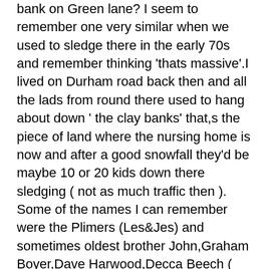bank on Green lane? I seem to remember one very similar when we used to sledge there in the early 70s and remember thinking 'thats massive'.I lived on Durham road back then and all the lads from round there used to hang about down ' the clay banks' that,s the piece of land where the nursing home is now and after a good snowfall they'd be maybe 10 or 20 kids down there sledging ( not as much traffic then ). Some of the names I can remember were the Plimers (Les&Jes) and sometimes oldest brother John,Graham Boyer,Dave Harwood,Decca Beech ( who sadly died last year ) Carl Barton,Billy place,Mick Twentyman, who s mam had the shop in Stavordale road,Paul Stokes,Steven Ballentine.